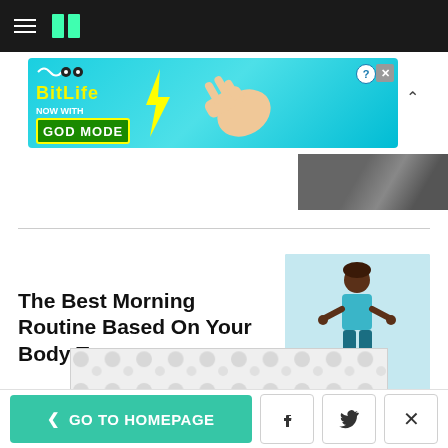HuffPost navigation header with hamburger menu and logo
[Figure (screenshot): BitLife advertisement banner: 'NOW WITH GOD MODE' on cyan background with pointing hand graphic]
[Figure (photo): Partial photo visible in upper right area]
The Best Morning Routine Based On Your Body Type
[Figure (illustration): Illustration of a woman in athletic wear standing with hands on hips, light blue background]
[Figure (screenshot): Advertisement placeholder with grey dot pattern]
< GO TO HOMEPAGE | Facebook | Twitter | X